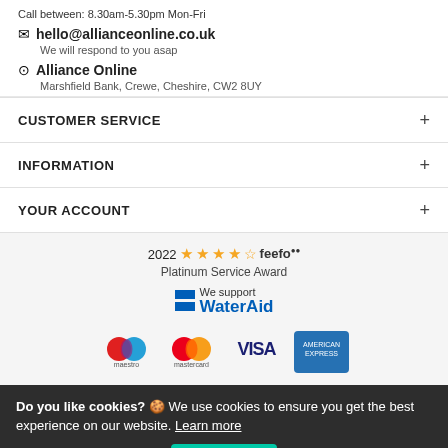Call between: 8.30am-5.30pm Mon-Fri
✉ hello@allianceonline.co.uk
We will respond to you asap
📍 Alliance Online
Marshfield Bank, Crewe, Cheshire, CW2 8UY
CUSTOMER SERVICE
INFORMATION
YOUR ACCOUNT
[Figure (logo): 2022 Feefo Platinum Service Award with star rating and WaterAid support logo]
[Figure (logo): Payment logos: Maestro, Mastercard, Visa, American Express]
Do you like cookies? 🍪 We use cookies to ensure you get the best experience on our website. Learn more
I agree
Powered by Lightstone